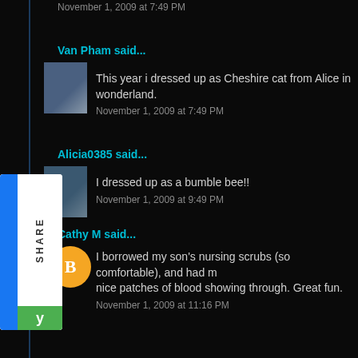November 1, 2009 at 7:49 PM (partial, top cut off)
Van Pham said... This year i dressed up as Cheshire cat from Alice in wonderland. November 1, 2009 at 7:49 PM
Alicia0385 said... I dressed up as a bumble bee!! November 1, 2009 at 9:49 PM
Cathy M said... I borrowed my son's nursing scrubs (so comfortable), and had m nice patches of blood showing through. Great fun. November 1, 2009 at 11:16 PM
Sue A. said... I didn't dress up this year. I'd want to be bad for once, so maybe November 1, 2009 at 11:59 PM
Sue Brandes said... I work at Asisted Living & I dressed up with a cat shirt and ears & like wiskers. LOL. Enjoyed your guest post.